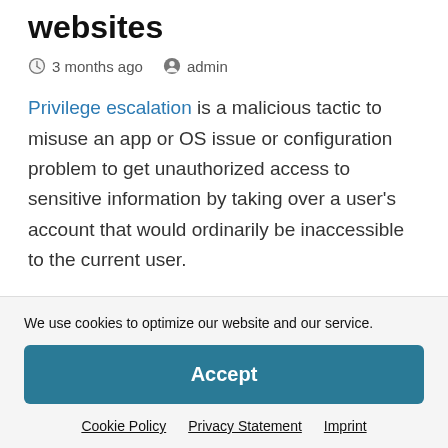websites
3 months ago   admin
Privilege escalation is a malicious tactic to misuse an app or OS issue or configuration problem to get unauthorized access to sensitive information by taking over a user's account that would ordinarily be inaccessible to the current user.
By getting these permissions, a hostile actor may undertake a number of operations on the operating system or server, such as executing commands or aiding
We use cookies to optimize our website and our service.
Accept
Cookie Policy   Privacy Statement   Imprint